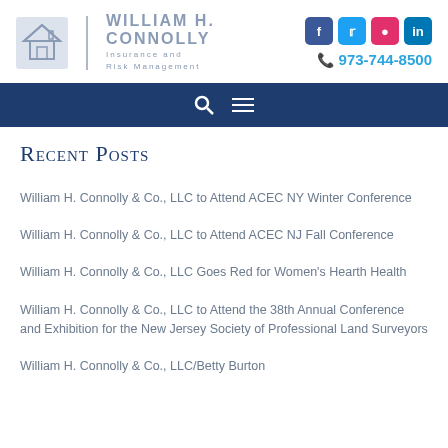[Figure (logo): William H. Connolly Insurance and Risk Management logo with house icon, social media icons (Facebook, Twitter, Instagram, LinkedIn), and phone number 973-744-8500]
Recent Posts
William H. Connolly & Co., LLC to Attend ACEC NY Winter Conference
William H. Connolly & Co., LLC to Attend ACEC NJ Fall Conference
William H. Connolly & Co., LLC Goes Red for Women's Hearth Health
William H. Connolly & Co., LLC to Attend the 38th Annual Conference and Exhibition for the New Jersey Society of Professional Land Surveyors
William H. Connolly & Co., LLC/Betty Burton